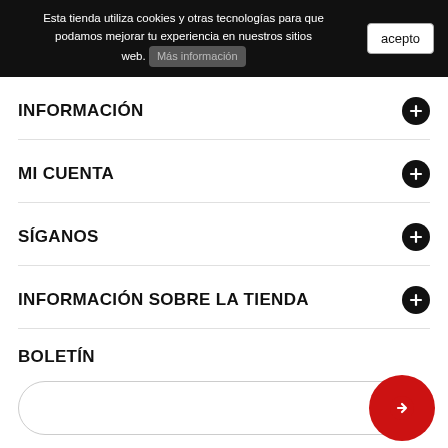Esta tienda utiliza cookies y otras tecnologías para que podamos mejorar tu experiencia en nuestros sitios web. Más información acepto
INFORMACIÓN
MI CUENTA
SÍGANOS
INFORMACIÓN SOBRE LA TIENDA
BOLETÍN